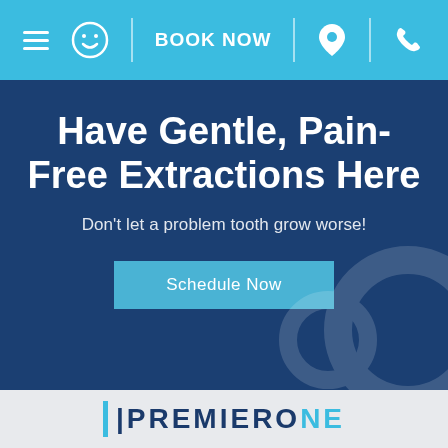Navigation bar with menu, smiley icon, BOOK NOW, location pin, phone icons
Have Gentle, Pain-Free Extractions Here
Don't let a problem tooth grow worse!
Schedule Now
PREMIERONE